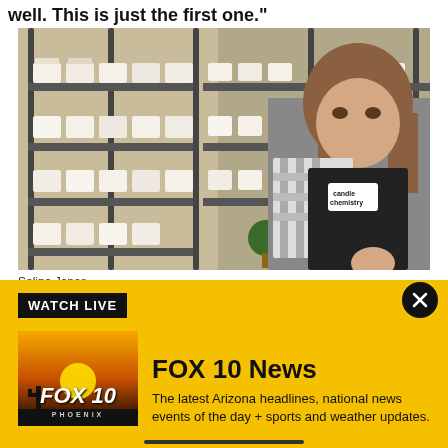well. This is just the first one."
[Figure (photo): Woman wearing a black apron with 'candle chemistry' logo and a plaid shirt, standing in a candle shop with shelves of candles behind her.]
Selina Jones
WATCH LIVE
[Figure (logo): FOX 10 Phoenix logo against a sunset desert silhouette background]
FOX 10 News
The latest Arizona headlines, national news events of the day + sports and weather updates.